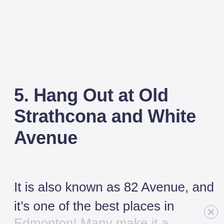5. Hang Out at Old Strathcona and White Avenue
It is also known as 82 Avenue, and it’s one of the best places in Edmonton! Many make it a priority to get here each time